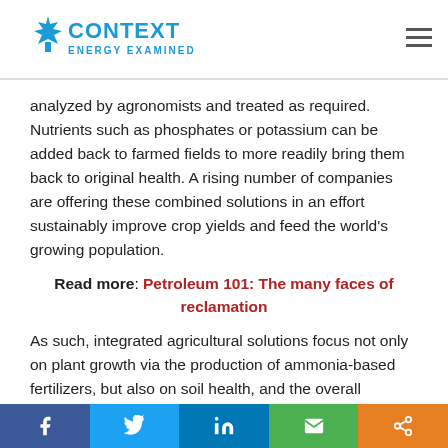Context Energy Examined
analyzed by agronomists and treated as required. Nutrients such as phosphates or potassium can be added back to farmed fields to more readily bring them back to original health. A rising number of companies are offering these combined solutions in an effort sustainably improve crop yields and feed the world's growing population.
Read more: Petroleum 101: The many faces of reclamation
As such, integrated agricultural solutions focus not only on plant growth via the production of ammonia-based fertilizers, but also on soil health, and the overall environmental footprint of farming. By helping farmers to adopt new technologies and agronomy practices, fertilizer
Social share bar: Facebook, Twitter, LinkedIn, Email, Share